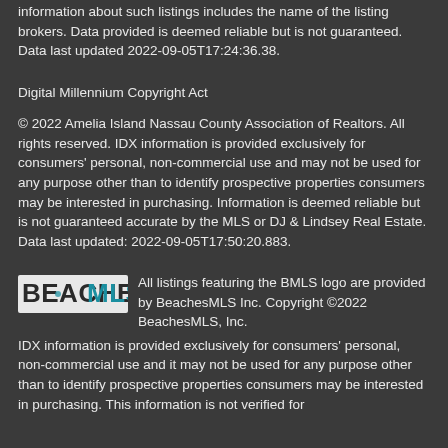information about such listings includes the name of the listing brokers. Data provided is deemed reliable but is not guaranteed. Data last updated 2022-09-05T17:24:36.38.
Digital Millennium Copyright Act
© 2022 Amelia Island Nassau County Association of Realtors. All rights reserved. IDX information is provided exclusively for consumers' personal, non-commercial use and may not be used for any purpose other than to identify prospective properties consumers may be interested in purchasing. Information is deemed reliable but is not guaranteed accurate by the MLS or DJ & Lindsey Real Estate. Data last updated: 2022-09-05T17:50:20.883.
[Figure (logo): BeachesMLS logo - rectangular logo with BEACHES in bold dark text and MLS in teal/blue text]
All listings featuring the BMLS logo are provided by BeachesMLS Inc. Copyright ©2022 BeachesMLS, Inc. IDX information is provided exclusively for consumers' personal, non-commercial use and it may not be used for any purpose other than to identify prospective properties consumers may be interested in purchasing. This information is not verified for